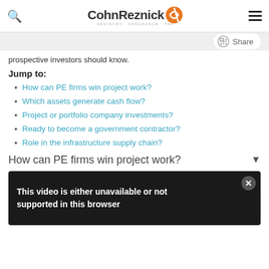CohnReznick - ADVISORY · ASSURANCE · TAX
prospective investors should know.
Jump to:
How can PE firms win project work?
Which assets generate cash flow?
Project or portfolio company investments?
Ready to become a government contractor?
Role in the infrastructure supply chain?
How can PE firms win project work?
[Figure (screenshot): Black video player box showing message: This video is either unavailable or not supported in this browser]